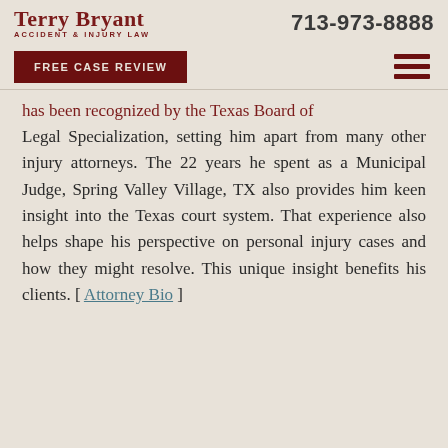TerryBryant ACCIDENT & INJURY LAW | 713-973-8888
FREE CASE REVIEW
has been recognized by the Texas Board of Legal Specialization, setting him apart from many other injury attorneys. The 22 years he spent as a Municipal Judge, Spring Valley Village, TX also provides him keen insight into the Texas court system. That experience also helps shape his perspective on personal injury cases and how they might resolve. This unique insight benefits his clients. [ Attorney Bio ]